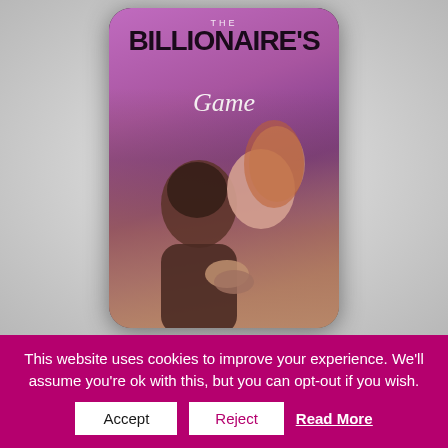[Figure (illustration): Smartphone displaying a romance novel book cover titled 'THE BILLIONAIRE'S Game' with a couple embracing on a purple/pink background, shown against a light gray radial gradient background.]
This website uses cookies to improve your experience. We'll assume you're ok with this, but you can opt-out if you wish.
Accept   Reject   Read More